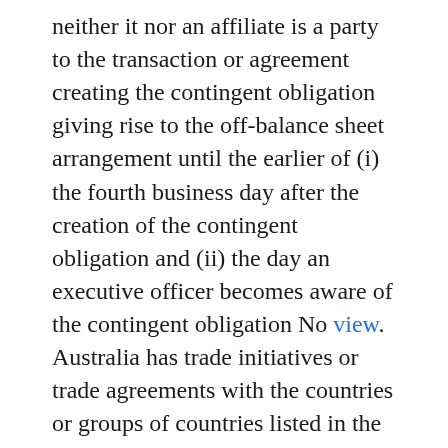neither it nor an affiliate is a party to the transaction or agreement creating the contingent obligation giving rise to the off-balance sheet arrangement until the earlier of (i) the fourth business day after the creation of the contingent obligation and (ii) the day an executive officer becomes aware of the contingent obligation No view. Australia has trade initiatives or trade agreements with the countries or groups of countries listed in the following table. In implementing these principles, Australia will make a number of improvements in its Pharmaceuticals Benefits Scheme (PBS) proceduresincluding establishment of an independent process to review determinations of product listingsthat